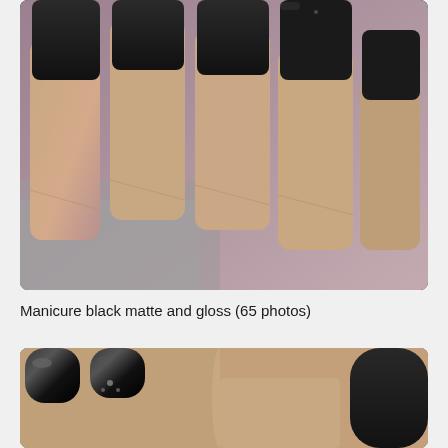[Figure (photo): Close-up photo of hand with matte black square-shaped fingernails against a light pink/purple background]
Manicure black matte and gloss (65 photos)
[Figure (photo): Close-up photo of hand with black nails showing both glossy and matte black nail polish, side by side comparison]